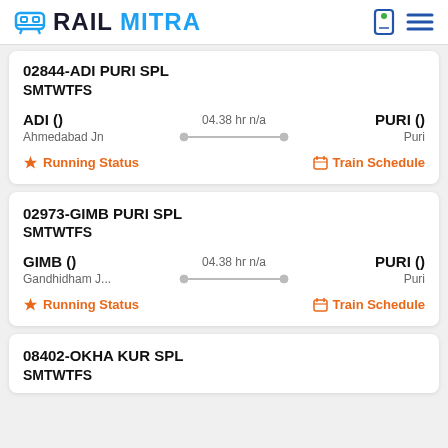RAILMITRA
02844-ADI PURI SPL
SMTWTFS
ADI () — 04.38 hr n/a — PURI ()
Ahmedabad Jn                               Puri
Running Status    Train Schedule
02973-GIMB PURI SPL
SMTWTFS
GIMB () — 04.38 hr n/a — PURI ()
Gandhidham J...                             Puri
Running Status    Train Schedule
08402-OKHA KUR SPL
SMTWTFS